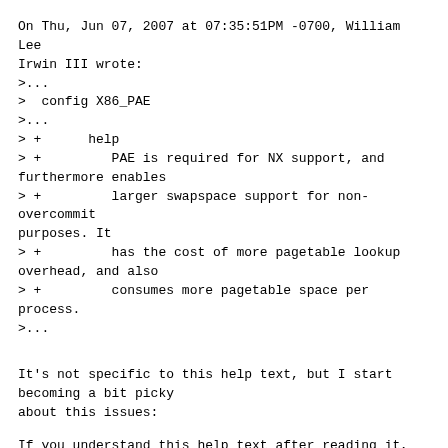On Thu, Jun 07, 2007 at 07:35:51PM -0700, William Lee Irwin III wrote:
>...
>  config X86_PAE
>...
> +      help
> +         PAE is required for NX support, and furthermore enables
> +         larger swapspace support for non-overcommit purposes. It
> +         has the cost of more pagetable lookup overhead, and also
> +         consumes more pagetable space per process.
>...
It's not specific to this help text, but I start becoming a bit picky
about this issues:
If you understand this help text after reading it, you don't need a help
text for this option...  ;-)
What is "NX support"?
What are "non-overcommit purposes"?
What is "pagetable lookup overhead"?
And if in doubt, should I say Y or N?